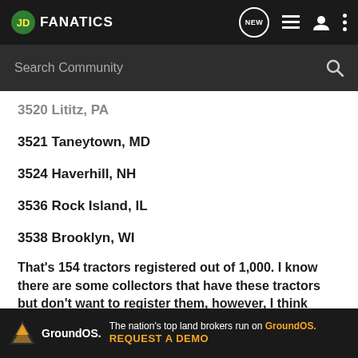JD FANATICS
Search Community
3520 Lititz, PA
3521 Taneytown, MD
3524 Haverhill, NH
3536 Rock Island, IL
3538 Brooklyn, WI
That's 154 tractors registered out of 1,000. I know there are some collectors that have these tractors but don't want to register them, however, I think there are quite a bit out there yet with consecutive serial n
[Figure (other): GroundOS advertisement banner: 'The nation's top land brokers run on GroundOS. REQUEST A DEMO']